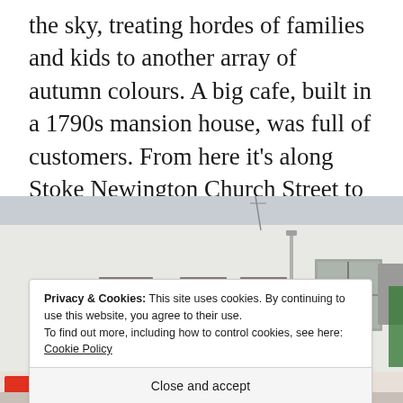the sky, treating hordes of families and kids to another array of autumn colours. A big cafe, built in a 1790s mansion house, was full of customers. From here it's along Stoke Newington Church Street to end this section of walk at Abney Park Cemetery.
[Figure (photo): Photograph of a white-painted street facade with several windows, some with dark frames and curtains. A vertical pipe is visible on the exterior wall. The bottom of the image shows colourful items partially visible.]
Privacy & Cookies: This site uses cookies. By continuing to use this website, you agree to their use.
To find out more, including how to control cookies, see here: Cookie Policy
Close and accept